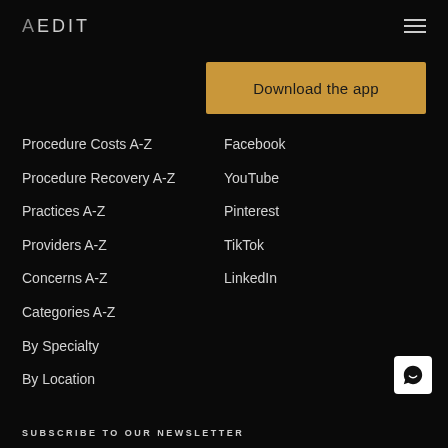AEDIT
[Figure (other): Download the app button - golden/amber colored rectangular button]
Procedure Costs A-Z
Facebook
Procedure Recovery A-Z
YouTube
Practices A-Z
Pinterest
Providers A-Z
TikTok
Concerns A-Z
LinkedIn
Categories A-Z
By Specialty
By Location
[Figure (other): Chat/message bubble icon in white on square background]
SUBSCRIBE TO OUR NEWSLETTER